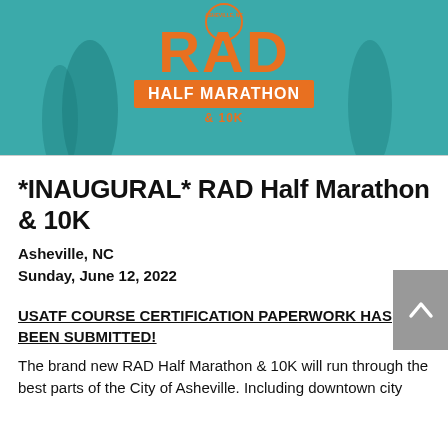[Figure (illustration): RAD Half Marathon & 10K event banner with teal background showing runners silhouette and orange RAD logo text]
*INAUGURAL* RAD Half Marathon & 10K
Asheville, NC
Sunday, June 12, 2022
USATF COURSE CERTIFICATION PAPERWORK HAS BEEN SUBMITTED!
The brand new RAD Half Marathon & 10K will run through the best parts of the City of Asheville. Including downtown city